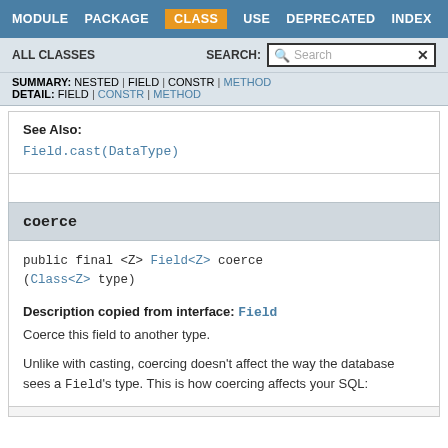MODULE  PACKAGE  CLASS  USE  DEPRECATED  INDEX  HELP
ALL CLASSES  SEARCH:
SUMMARY: NESTED | FIELD | CONSTR | METHOD
DETAIL: FIELD | CONSTR | METHOD
See Also:
Field.cast(DataType)
coerce
public final <Z> Field<Z> coerce
(Class<Z> type)
Description copied from interface: Field
Coerce this field to another type.
Unlike with casting, coercing doesn't affect the way the database sees a Field's type. This is how coercing affects your SQL: